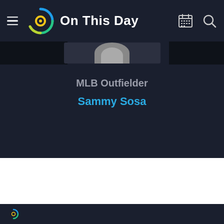On This Day
[Figure (logo): On This Day app logo - circular swirl icon in blue/green/yellow gradient with white text 'On This Day']
[Figure (photo): Partial profile photo of Sammy Sosa, mostly cropped, showing a small portion at the top]
MLB Outfielder
Sammy Sosa